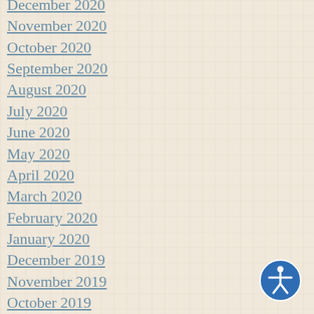December 2020
November 2020
October 2020
September 2020
August 2020
July 2020
June 2020
May 2020
April 2020
March 2020
February 2020
January 2020
December 2019
November 2019
October 2019
September 2019
August 2019
July 2019
June 2019
May 2019
April 2019
March 2019
[Figure (illustration): Accessibility button icon — blue circle with white person icon (universal accessibility symbol)]